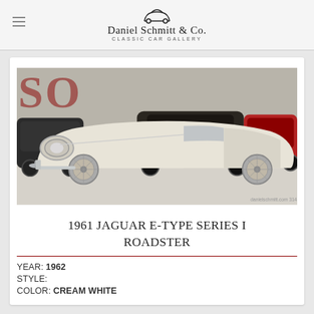Daniel Schmitt & Co. Classic Car Gallery
[Figure (photo): 1961 Jaguar E-Type Series I Roadster in cream white, photographed in a classic car showroom with other vintage cars visible in background. A 'SOLD' watermark overlay appears on the image.]
1961 JAGUAR E-TYPE SERIES I ROADSTER
YEAR: 1962
STYLE:
COLOR: CREAM WHITE